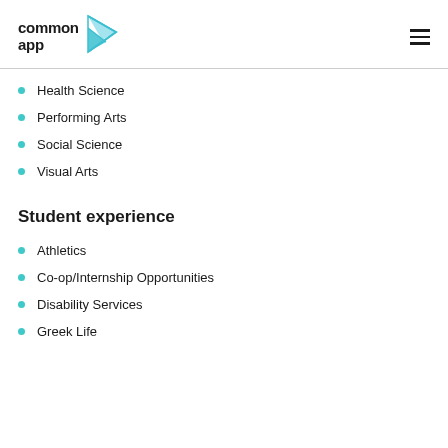[Figure (logo): Common App logo with teal wing/arrow icon and text 'common app']
Health Science
Performing Arts
Social Science
Visual Arts
Student experience
Athletics
Co-op/Internship Opportunities
Disability Services
Greek Life